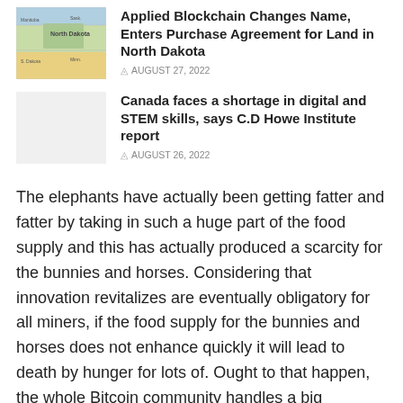[Figure (map): Small map thumbnail showing North Dakota region with surrounding states, colorful terrain map style]
Applied Blockchain Changes Name, Enters Purchase Agreement for Land in North Dakota
AUGUST 27, 2022
[Figure (photo): Blank/white thumbnail image placeholder]
Canada faces a shortage in digital and STEM skills, says C.D Howe Institute report
AUGUST 26, 2022
The elephants have actually been getting fatter and fatter by taking in such a huge part of the food supply and this has actually produced a scarcity for the bunnies and horses. Considering that innovation revitalizes are eventually obligatory for all miners, if the food supply for the bunnies and horses does not enhance quickly it will lead to death by hunger for lots of. Ought to that happen, the whole Bitcoin community handles a big vulnerability. If a big extremely bulk of the worldwide hash were owned by the elephants, and